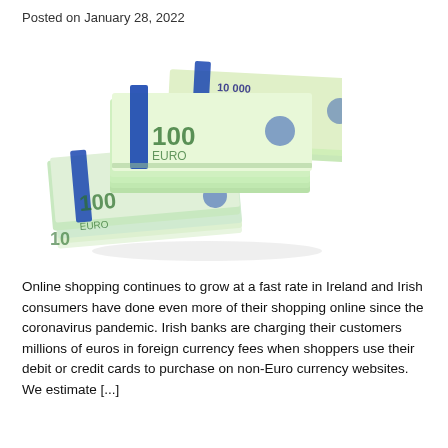Posted on January 28, 2022
[Figure (photo): Stack of bundled 100 Euro banknotes piled on top of each other, photographed on a white background.]
Online shopping continues to grow at a fast rate in Ireland and Irish consumers have done even more of their shopping online since the coronavirus pandemic. Irish banks are charging their customers millions of euros in foreign currency fees when shoppers use their debit or credit cards to purchase on non-Euro currency websites. We estimate [...]